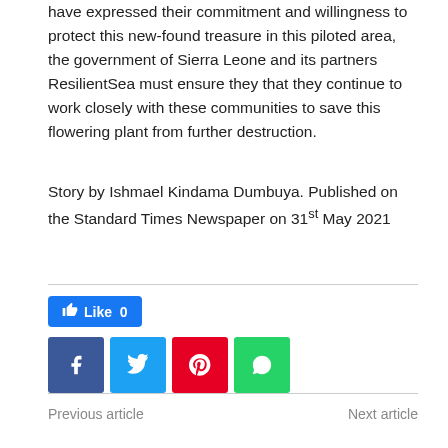have expressed their commitment and willingness to protect this new-found treasure in this piloted area, the government of Sierra Leone and its partners ResilientSea must ensure they that they continue to work closely with these communities to save this flowering plant from further destruction.
Story by Ishmael Kindama Dumbuya. Published on the Standard Times Newspaper on 31st May 2021
[Figure (infographic): Social sharing buttons: Like button (Facebook), Facebook, Twitter, Pinterest, WhatsApp icons]
Previous article
Next article